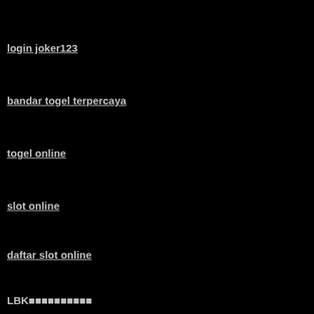login joker123
bandar togel terpercaya
togel online
slot online
daftar slot online
LBK■■■■■■■■■■